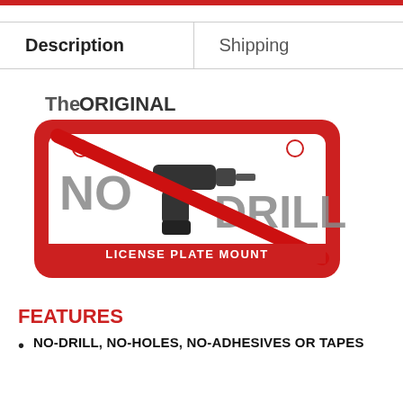| Description | Shipping |
| --- | --- |
[Figure (logo): The ORIGINAL No-Drill License Plate Mount logo — a red rounded rectangle license plate frame with a drill graphic crossed out by a red diagonal line, text 'NO DRILL' and 'LICENSE PLATE MOUNT']
FEATURES
NO-DRILL, NO-HOLES, NO-ADHESIVES OR TAPES